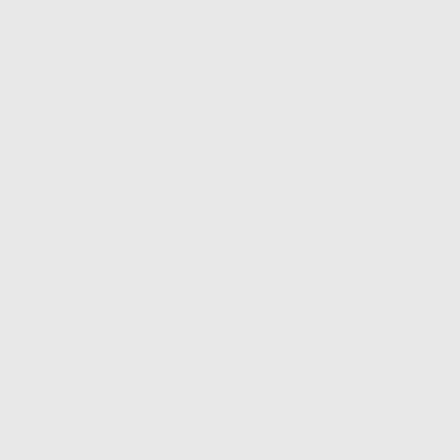COCKS INTERNATIONAL REALTY | MENU
COCKS INTERNATIONAL REALTY INC., BROKERAGE
212 HWY 141, PO BOX 120
UTTERSON, P0B1M0
OFFICE: (705) 640-0664
DIRECT: (705) 380-3166
FAX: (705) 990-0155
REQUEST MORE INFORMATION
<iframe
src="https://link.automationsplus.co